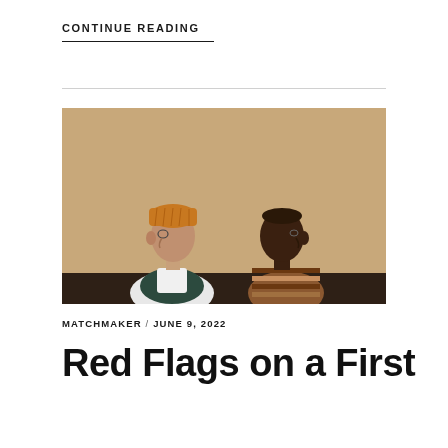CONTINUE READING
[Figure (photo): Two people sitting side by side against a beige wall, looking in opposite directions. Person on left wears an orange/mustard knit beanie, glasses, white shirt and dark quilted vest. Person on right is a Black man with short hair wearing a brown striped sweater.]
MATCHMAKER / JUNE 9, 2022
Red Flags on a First